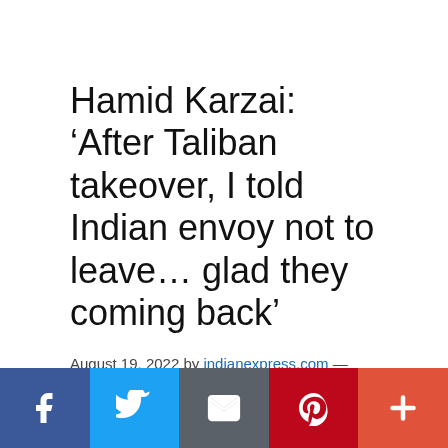Hamid Karzai: ‘After Taliban takeover, I told Indian envoy not to leave… glad they coming back’
August 19, 2022 by indianexpress.com — Leave a Comment
As India was preparing to shut down its embassy in